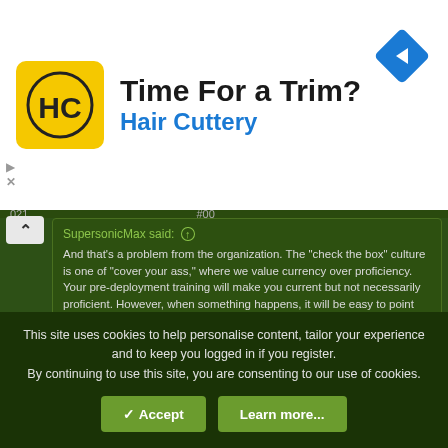[Figure (advertisement): Hair Cuttery advertisement banner with logo (HC on yellow background), title 'Time For a Trim?', subtitle 'Hair Cuttery', and a blue navigation arrow icon in the top right corner.]
SupersonicMax said: ↑
And that's a problem from the organization. The "check the box" culture is one of "cover your ass," where we value currency over proficiency. Your pre-deployment training will make you current but not necessarily proficient. However, when something happens, it will be easy to point the finger to the individual, rather than the institution, since they were "current" even though leadership failed the individual and failed to make them proficient.
This.
CBH99
This site uses cookies to help personalise content, tailor your experience and to keep you logged in if you register.
By continuing to use this site, you are consenting to our use of cookies.